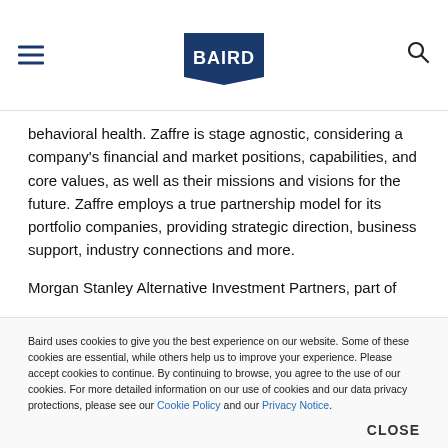BAIRD
behavioral health. Zaffre is stage agnostic, considering a company's financial and market positions, capabilities, and core values, as well as their missions and visions for the future. Zaffre employs a true partnership model for its portfolio companies, providing strategic direction, business support, industry connections and more.
Morgan Stanley Alternative Investment Partners, part of
Baird uses cookies to give you the best experience on our website. Some of these cookies are essential, while others help us to improve your experience. Please accept cookies to continue. By continuing to browse, you agree to the use of our cookies. For more detailed information on our use of cookies and our data privacy protections, please see our Cookie Policy and our Privacy Notice.
CLOSE